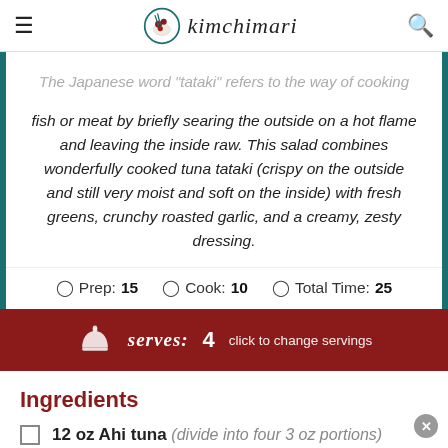kimchimari
The Japanese word "tataki" refers to the way of cooking fish or meat by briefly searing the outside on a hot flame and leaving the inside raw. This salad combines wonderfully cooked tuna tataki (crispy on the outside and still very moist and soft on the inside) with fresh greens, crunchy roasted garlic, and a creamy, zesty dressing.
Prep: 15  Cook: 10  Total Time: 25
serves: 4  click to change servings
Ingredients
12 oz Ahi tuna (divide into four 3 oz portions)
8 oz red leaf lettuce mix (baby spinach or other baby spring salad mix)